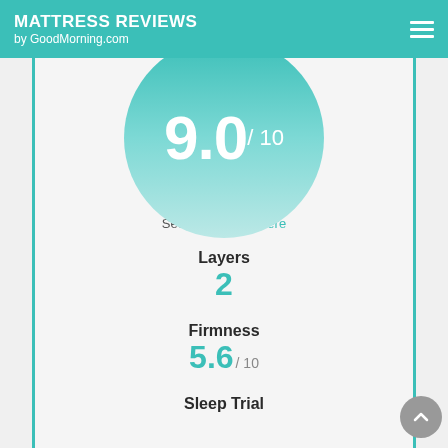MATTRESS REVIEWS by GoodMorning.com
[Figure (infographic): Large teal circle showing score 9.0/10, partially cropped at top]
See calculations here
Layers
2
Firmness
5.6 / 10
Sleep Trial